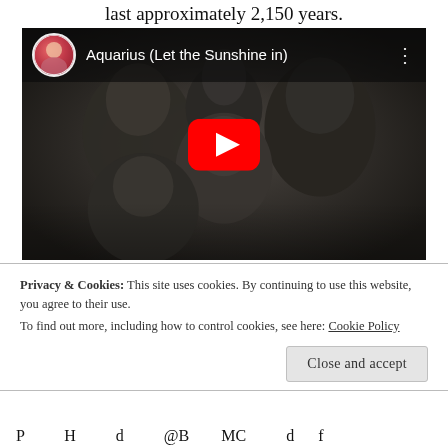last approximately 2,150 years.
[Figure (screenshot): YouTube video embed showing 'Aquarius (Let the Sunshine in)' with a black and white group photo of five people, a circular avatar thumbnail in the top left, video title text, and a red YouTube play button in the center.]
Privacy & Cookies: This site uses cookies. By continuing to use this website, you agree to their use.
To find out more, including how to control cookies, see here: Cookie Policy
Close and accept
P          H          d          @B        MC          d     f